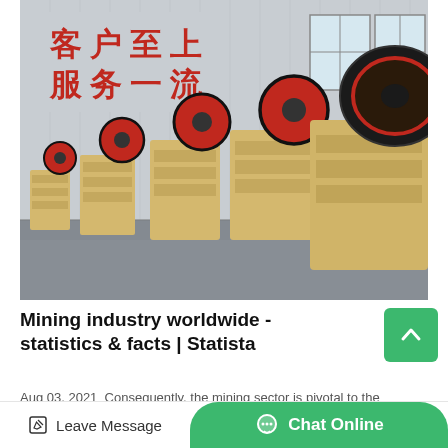[Figure (photo): Industrial warehouse with a row of yellow jaw crusher machines with red and black flywheels lined up on a factory floor. Red Chinese characters on the back wall.]
Mining industry worldwide - statistics & facts | Statista
Aug 03, 2021 Consequently, the mining sector is pivotal to the
Leave Message
Chat Online